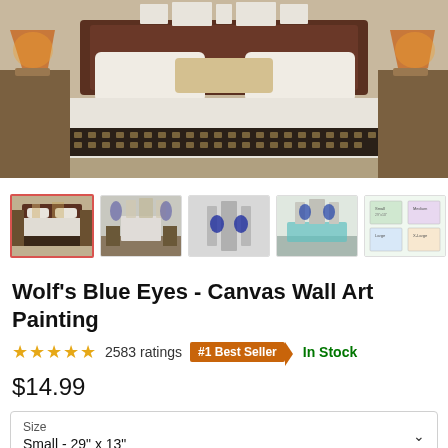[Figure (photo): Main product image showing canvas wall art of wolf's blue eyes hanging above a bed in a bedroom setting]
[Figure (photo): Thumbnail gallery row showing 5 product thumbnail images: selected bedroom scene, living room scene, close-up wolf eyes, teal sofa room, and size chart diagram]
Wolf's Blue Eyes - Canvas Wall Art Painting
★★★★★ 2583 ratings #1 Best Seller In Stock
$14.99
Size
Small - 29" x 13"